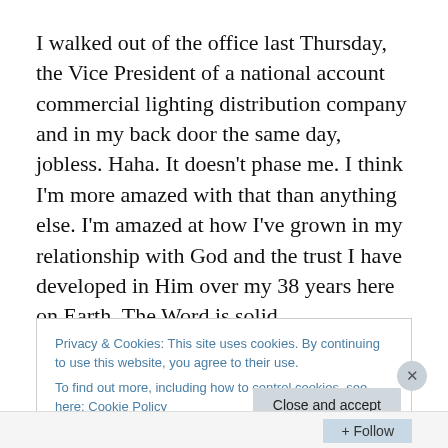I walked out of the office last Thursday, the Vice President of a national account commercial lighting distribution company and in my back door the same day, jobless. Haha. It doesn't phase me. I think I'm more amazed with that than anything else. I'm amazed at how I've grown in my relationship with God and the trust I have developed in Him over my 38 years here on Earth. The Word is solid
Privacy & Cookies: This site uses cookies. By continuing to use this website, you agree to their use. To find out more, including how to control cookies, see here: Cookie Policy